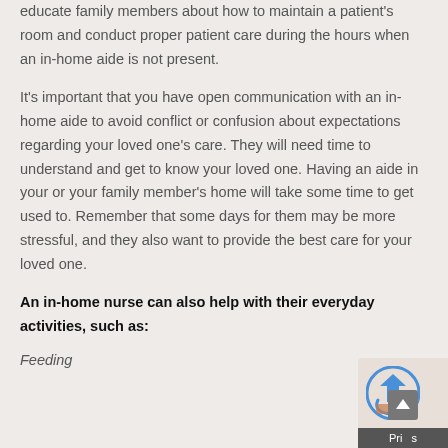educate family members about how to maintain a patient's room and conduct proper patient care during the hours when an in-home aide is not present.
It's important that you have open communication with an in-home aide to avoid conflict or confusion about expectations regarding your loved one's care. They will need time to understand and get to know your loved one. Having an aide in your or your family member's home will take some time to get used to. Remember that some days for them may be more stressful, and they also want to provide the best care for your loved one.
An in-home nurse can also help with their everyday activities, such as:
Feeding